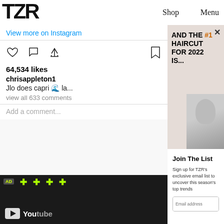TZR  Shop  Menu
View more on Instagram
64,534 likes
chrisappleton1
Jlo does capri 🌊 la...
view all 633 comments
Add a comment...
[Figure (screenshot): YouTube video thumbnail with AD label and green plus icons]
[Figure (screenshot): Haircut ad overlay: AND THE #1 HAIRCUT FOR 2022 IS... with woman's face]
Join The List
Sign up for TZR's exclusive email list to uncover this season's top trends
Email address  Subscribe